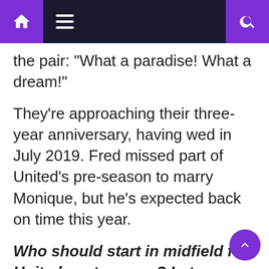Navigation bar with home, menu, and search icons
the pair: "What a paradise! What a dream!"
They're approaching their three-year anniversary, having wed in July 2019. Fred missed part of United's pre-season to marry Monique, but he's expected back on time this year.
Who should start in midfield for United next season? Let us know in the comments section.